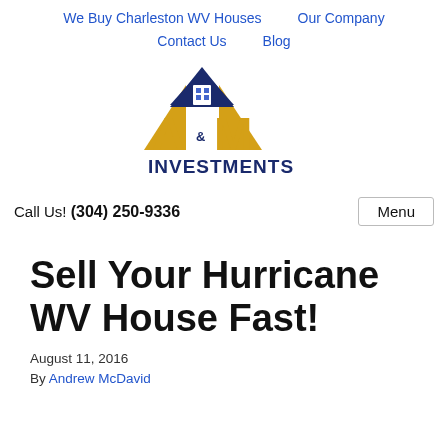We Buy Charleston WV Houses   Our Company   Contact Us   Blog
[Figure (logo): A&M Investments logo with house/roof graphic in navy and gold, text reads A&M INVESTMENTS]
Call Us! (304) 250-9336
Sell Your Hurricane WV House Fast!
August 11, 2016
By Andrew McDavid